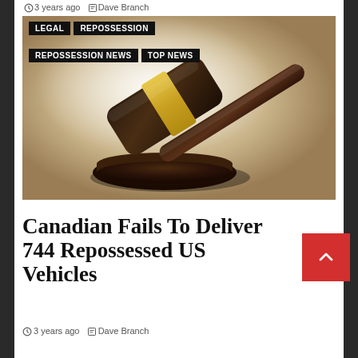3 years ago   Dave Branch
[Figure (photo): A judge's wooden gavel with gold band resting on a sound block, on a warm beige/tan background. Tags overlay the top-left: LEGAL, REPOSSESSION, REPOSSESSION NEWS, TOP NEWS.]
Canadian Fails To Deliver 744 Repossessed US Vehicles
3 years ago   Dave Branch